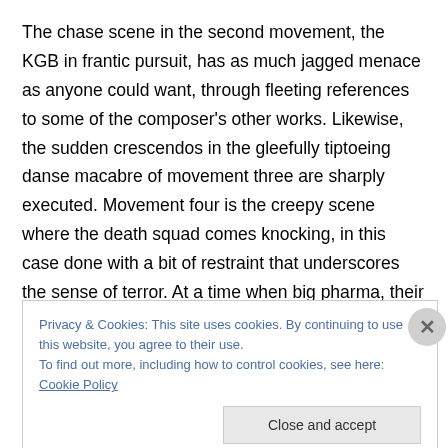The chase scene in the second movement, the KGB in frantic pursuit, has as much jagged menace as anyone could want, through fleeting references to some of the composer's other works. Likewise, the sudden crescendos in the gleefully tiptoeing danse macabre of movement three are sharply executed. Movement four is the creepy scene where the death squad comes knocking, in this case done with a bit of restraint that underscores the sense of terror. At a time when big pharma, their puppets in government and law enforcement are waging war
Privacy & Cookies: This site uses cookies. By continuing to use this website, you agree to their use.
To find out more, including how to control cookies, see here: Cookie Policy